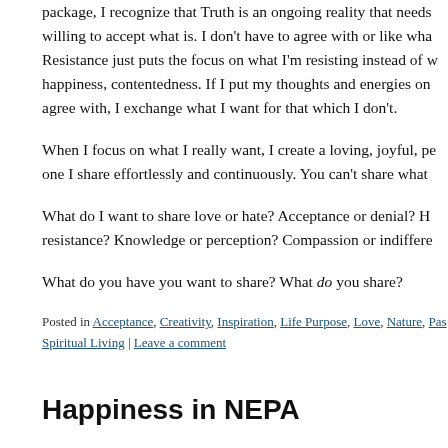package, I recognize that Truth is an ongoing reality that needs willing to accept what is.  I don't have to agree with or like wha Resistance just puts the focus on what I'm resisting instead of w happiness, contentedness.  If I put my thoughts and energies on agree with, I exchange what I want for that which I don't.
When I focus on what I really want, I create a loving, joyful, pe one I share effortlessly and continuously.  You can't share what
What do I want to share love or hate?  Acceptance or denial?  H resistance?  Knowledge or perception?  Compassion or indiffere
What do you have you want to share?  What do you share?
Posted in Acceptance, Creativity, Inspiration, Life Purpose, Love, Nature, Pas Spiritual Living | Leave a comment
Happiness in NEPA